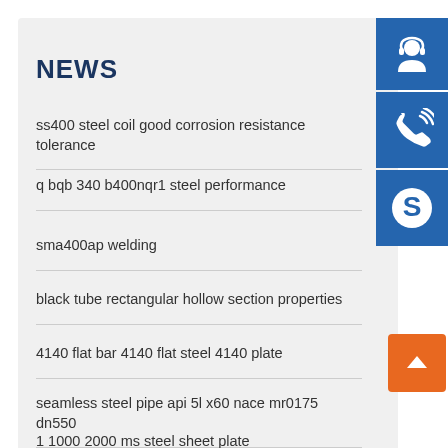NEWS
ss400 steel coil good corrosion resistance tolerance
q bqb 340 b400nqr1 steel performance
sma400ap welding
black tube rectangular hollow section properties
4140 flat bar 4140 flat steel 4140 plate
seamless steel pipe api 5l x60 nace mr0175 dn550
1 1000 2000 ms steel sheet plate